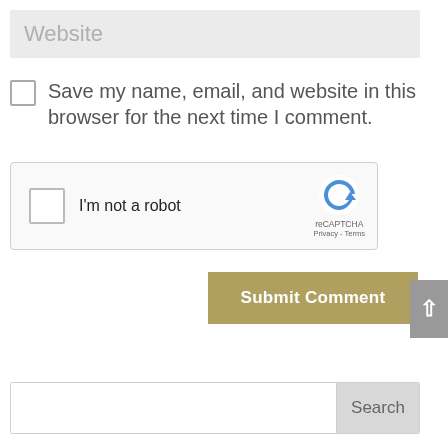[Figure (screenshot): Website input field with placeholder text 'Website' on gray background]
Save my name, email, and website in this browser for the next time I comment.
[Figure (screenshot): reCAPTCHA widget with checkbox and 'I'm not a robot' label, reCAPTCHA logo, Privacy and Terms links]
[Figure (screenshot): Submit Comment button in tan/gold color]
[Figure (screenshot): Scroll to top button, gray with upward arrow]
[Figure (screenshot): Search input field with Search button]